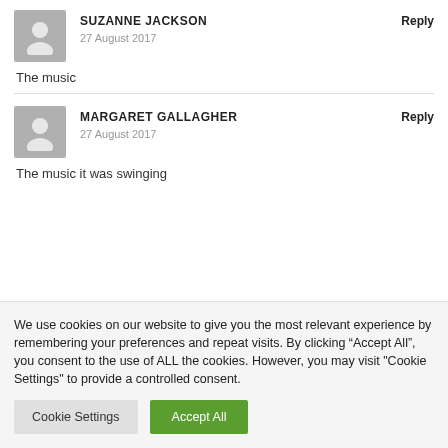[Figure (illustration): Gray avatar silhouette icon for Suzanne Jackson]
SUZANNE JACKSON
27 August 2017
Reply
The music
[Figure (illustration): Gray avatar silhouette icon for Margaret Gallagher]
MARGARET GALLAGHER
27 August 2017
Reply
The music it was swinging
We use cookies on our website to give you the most relevant experience by remembering your preferences and repeat visits. By clicking “Accept All”, you consent to the use of ALL the cookies. However, you may visit "Cookie Settings" to provide a controlled consent.